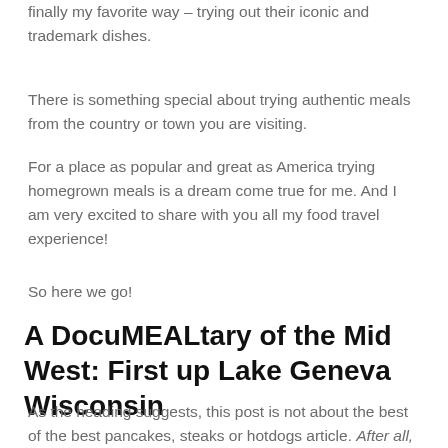finally my favorite way – trying out their iconic and trademark dishes.
There is something special about trying authentic meals from the country or town you are visiting.
For a place as popular and great as America trying homegrown meals is a dream come true for me. And I am very excited to share with you all my food travel experience!
So here we go!
A DocuMEALtary of the Mid West: First up Lake Geneva Wisconsin
As the heading suggests, this post is not about the best of the best pancakes, steaks or hotdogs article. After all, this is